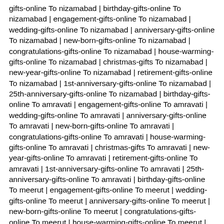gifts-online To nizamabad | birthday-gifts-online To nizamabad | engagement-gifts-online To nizamabad | wedding-gifts-online To nizamabad | anniversary-gifts-online To nizamabad | new-born-gifts-online To nizamabad | congratulations-gifts-online To nizamabad | house-warming-gifts-online To nizamabad | christmas-gifts To nizamabad | new-year-gifts-online To nizamabad | retirement-gifts-online To nizamabad | 1st-anniversary-gifts-online To nizamabad | 25th-anniversary-gifts-online To nizamabad | birthday-gifts-online To amravati | engagement-gifts-online To amravati | wedding-gifts-online To amravati | anniversary-gifts-online To amravati | new-born-gifts-online To amravati | congratulations-gifts-online To amravati | house-warming-gifts-online To amravati | christmas-gifts To amravati | new-year-gifts-online To amravati | retirement-gifts-online To amravati | 1st-anniversary-gifts-online To amravati | 25th-anniversary-gifts-online To amravati | birthday-gifts-online To meerut | engagement-gifts-online To meerut | wedding-gifts-online To meerut | anniversary-gifts-online To meerut | new-born-gifts-online To meerut | congratulations-gifts-online To meerut | house-warming-gifts-online To meerut | christmas-gifts To meerut | new-year-gifts-online To meerut | retirement-gifts-online To meerut | 1st-anniversary-gifts-online To meerut | 25th-anniversary-gifts-online To meerut | birthday-gifts-online To Dhanbad | engagement-gifts-online To Dhanbad | wedding-gifts-online To Dhanbad | anniversary-gifts-online To